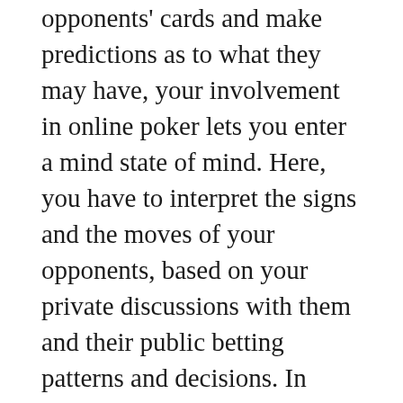opponents' cards and make predictions as to what they may have, your involvement in online poker lets you enter a mind state of mind. Here, you have to interpret the signs and the moves of your opponents, based on your private discussions with them and their public betting patterns and decisions. In poker over the Internet, there are no actual opponents, just video chat. If you think your opponent is upset or has a good hand that you know, you can attempt to get inside their head and predict their next move. However, this is for medication of Vegas88 strategy.
Despite the fact that over the Internet poker plays no mental exercise, over the Internet poker can be a mental exercise, specifically when you are analyzing your hand before its flop. Whether